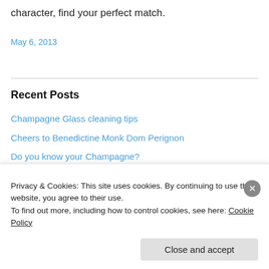character, find your perfect match.
May 6, 2013
Recent Posts
Champagne Glass cleaning tips
Cheers to Benedictine Monk Dom Perignon
Do you know your Champagne?
Champagne there is Method in the Pressing
Champagne Direct, what's the best celebration bubbly?
Privacy & Cookies: This site uses cookies. By continuing to use this website, you agree to their use.
To find out more, including how to control cookies, see here: Cookie Policy
Close and accept